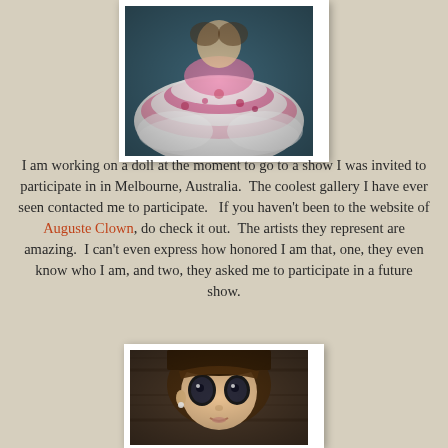[Figure (photo): A Blythe doll wearing a frilly white and pink tutu/dress, photographed from above, polaroid-style frame]
I am working on a doll at the moment to go to a show I was invited to participate in in Melbourne, Australia. The coolest gallery I have ever seen contacted me to participate. If you haven't been to the website of Auguste Clown, do check it out. The artists they represent are amazing. I can't even express how honored I am that, one, they even know who I am, and two, they asked me to participate in a future show.
[Figure (photo): Close-up face of a Blythe doll with large eyes, brown hair, resting on a wooden surface, polaroid-style frame]